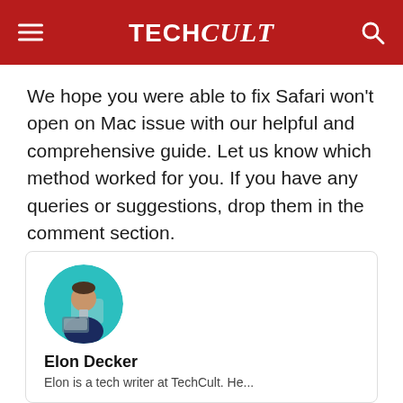TECHCult
We hope you were able to fix Safari won't open on Mac issue with our helpful and comprehensive guide. Let us know which method worked for you. If you have any queries or suggestions, drop them in the comment section.
[Figure (photo): Circular profile photo of a man in a suit jacket working at a laptop, on a teal/cyan background]
Elon Decker
Elon is a tech writer at TechCult. He...